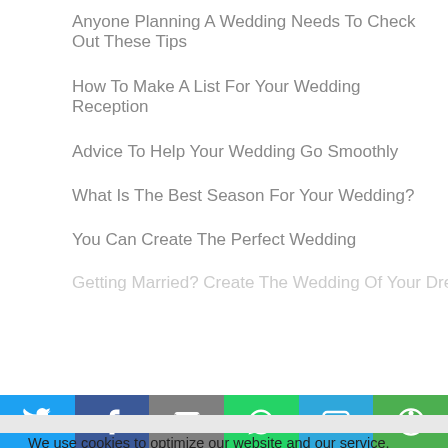Anyone Planning A Wedding Needs To Check Out These Tips
How To Make A List For Your Wedding Reception
Advice To Help Your Wedding Go Smoothly
What Is The Best Season For Your Wedding?
You Can Create The Perfect Wedding
Getting Married? Create The Wedding Of Your Dreams With These
We use cookies to optimize our website and our service.
Accept cookies
Deny
View preferences